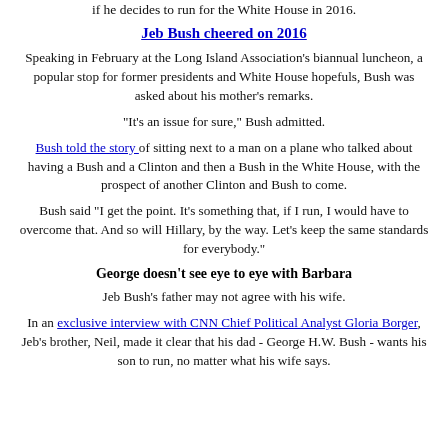if he decides to run for the White House in 2016.
Jeb Bush cheered on 2016
Speaking in February at the Long Island Association's biannual luncheon, a popular stop for former presidents and White House hopefuls, Bush was asked about his mother's remarks.
"It's an issue for sure," Bush admitted.
Bush told the story of sitting next to a man on a plane who talked about having a Bush and a Clinton and then a Bush in the White House, with the prospect of another Clinton and Bush to come.
Bush said "I get the point. It's something that, if I run, I would have to overcome that. And so will Hillary, by the way. Let's keep the same standards for everybody."
George doesn't see eye to eye with Barbara
Jeb Bush's father may not agree with his wife.
In an exclusive interview with CNN Chief Political Analyst Gloria Borger, Jeb's brother, Neil, made it clear that his dad - George H.W. Bush - wants his son to run, no matter what his wife says.